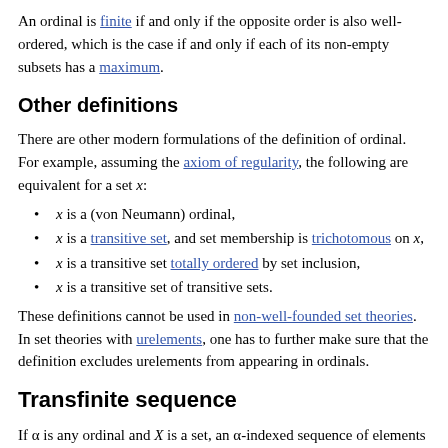An ordinal is finite if and only if the opposite order is also well-ordered, which is the case if and only if each of its non-empty subsets has a maximum.
Other definitions
There are other modern formulations of the definition of ordinal. For example, assuming the axiom of regularity, the following are equivalent for a set x:
x is a (von Neumann) ordinal,
x is a transitive set, and set membership is trichotomous on x,
x is a transitive set totally ordered by set inclusion,
x is a transitive set of transitive sets.
These definitions cannot be used in non-well-founded set theories. In set theories with urelements, one has to further make sure that the definition excludes urelements from appearing in ordinals.
Transfinite sequence
If α is any ordinal and X is a set, an α-indexed sequence of elements of X is a function from α to X. This concept, a transfinite